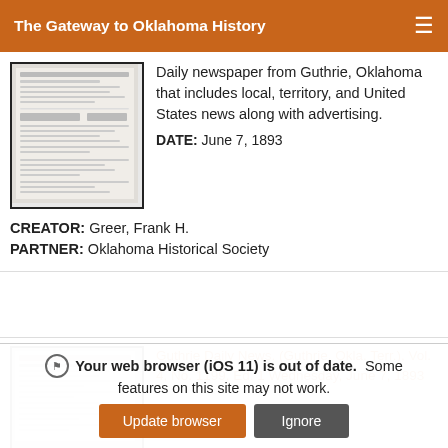The Gateway to Oklahoma History
[Figure (photo): Thumbnail of a historical newspaper page, grayscale]
Daily newspaper from Guthrie, Oklahoma that includes local, territory, and United States news along with advertising.
DATE: June 7, 1893
CREATOR: Greer, Frank H.
PARTNER: Oklahoma Historical Society
[Figure (photo): Thumbnail of Guthrie Daily News newspaper page]
Guthrie Daily News. (Guthrie, Okla. Terr.), Vol. 4, No. 1199, Ed. 1 Wednesday, June 7, 1893
Your web browser (iOS 11) is out of date. Some features on this site may not work.